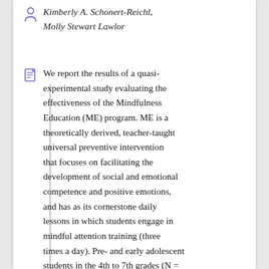Kimberly A. Schonert-Reichl, Molly Stewart Lawlor
We report the results of a quasi-experimental study evaluating the effectiveness of the Mindfulness Education (ME) program. ME is a theoretically derived, teacher-taught universal preventive intervention that focuses on facilitating the development of social and emotional competence and positive emotions, and has as its cornerstone daily lessons in which students engage in mindful attention training (three times a day). Pre- and early adolescent students in the 4th to 7th grades (N =